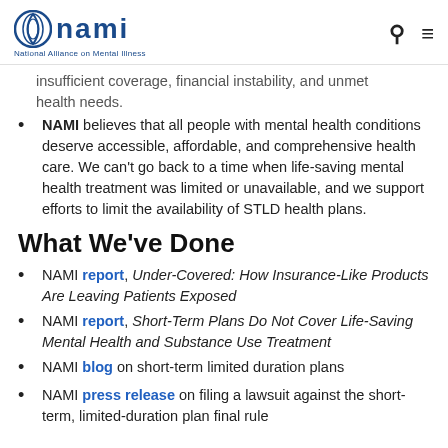NAMI - National Alliance on Mental Illness
insufficient coverage, financial instability, and unmet health needs.
NAMI believes that all people with mental health conditions deserve accessible, affordable, and comprehensive health care. We can’t go back to a time when life-saving mental health treatment was limited or unavailable, and we support efforts to limit the availability of STLD health plans.
What We’ve Done
NAMI report, Under-Covered: How Insurance-Like Products Are Leaving Patients Exposed
NAMI report, Short-Term Plans Do Not Cover Life-Saving Mental Health and Substance Use Treatment
NAMI blog on short-term limited duration plans
NAMI press release on filing a lawsuit against the short-term, limited-duration plan final rule